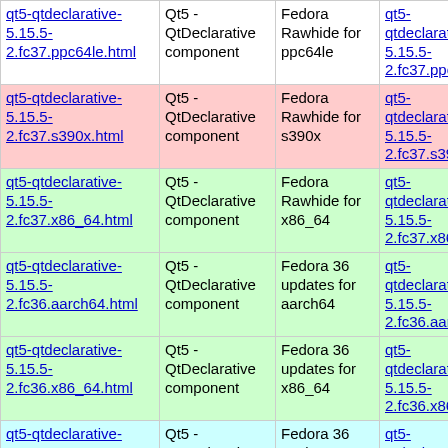| HTML Link | Component | Repo | RPM Link |
| --- | --- | --- | --- |
| qt5-qtdeclarative-5.15.5-2.fc37.ppc64le.html | Qt5 - QtDeclarative component | Fedora Rawhide for ppc64le | qt5-qtdeclarative-5.15.5-2.fc37.ppc64le.rpm |
| qt5-qtdeclarative-5.15.5-2.fc37.s390x.html | Qt5 - QtDeclarative component | Fedora Rawhide for s390x | qt5-qtdeclarative-5.15.5-2.fc37.s390x.rpm |
| qt5-qtdeclarative-5.15.5-2.fc37.x86_64.html | Qt5 - QtDeclarative component | Fedora Rawhide for x86_64 | qt5-qtdeclarative-5.15.5-2.fc37.x86_64.rpm |
| qt5-qtdeclarative-5.15.5-2.fc36.aarch64.html | Qt5 - QtDeclarative component | Fedora 36 updates for aarch64 | qt5-qtdeclarative-5.15.5-2.fc36.aarch64.rpm |
| qt5-qtdeclarative-5.15.5-2.fc36.x86_64.html | Qt5 - QtDeclarative component | Fedora 36 updates for x86_64 | qt5-qtdeclarative-5.15.5-2.fc36.x86_64.rpm |
| qt5-qtdeclarative-5.15.3-2.fc36.aarch64.html | Qt5 - QtDeclarative component | Fedora 36 testing updates for aarch64 | qt5-qtdeclarative-5.15.3-2.fc36.aarch64.rpm |
| qt5-qtdeclarative-5.15.3-2.fc36.aarch64.html | Qt5 - QtDeclarative component | Fedora 36 for aarch64 | qt5-qtdeclarative-5.15.3-2.fc36.aarch64.rpm |
| qt5-qtdeclarative- | Qt5 - | Fedora 36 | qt5-qtdeclarative- |